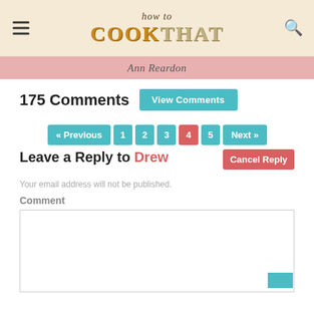[Figure (logo): How To Cook That logo with hamburger menu and search icon on a beige/tan background]
Ann Reardon
175 Comments
View Comments
« Previous  1  2  3  4  5  Next »  Cancel Reply
Leave a Reply to Drew
Your email address will not be published.
Comment